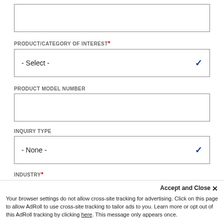[Figure (screenshot): Empty text input field at top of form]
PRODUCT/CATEGORY OF INTEREST *
[Figure (screenshot): Dropdown select field showing '- Select -' with blue chevron]
PRODUCT MODEL NUMBER
[Figure (screenshot): Empty text input field for product model number]
INQUIRY TYPE
[Figure (screenshot): Dropdown select field showing '- None -' with blue chevron]
INDUSTRY *
Accept and Close ×
Your browser settings do not allow cross-site tracking for advertising. Click on this page to allow AdRoll to use cross-site tracking to tailor ads to you. Learn more or opt out of this AdRoll tracking by clicking here. This message only appears once.